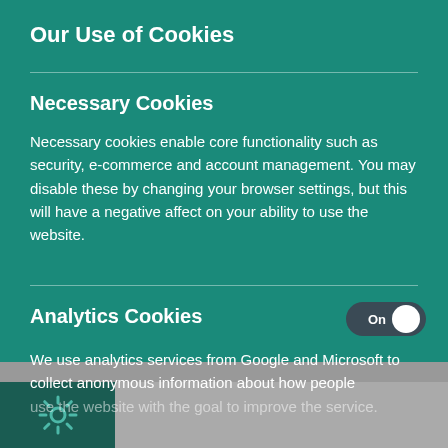Our Use of Cookies
Necessary Cookies
Necessary cookies enable core functionality such as security, e-commerce and account management. You may disable these by changing your browser settings, but this will have a negative affect on your ability to use the website.
Analytics Cookies
We use analytics services from Google and Microsoft to collect anonymous information about how people use the website with the goal to improve the service.